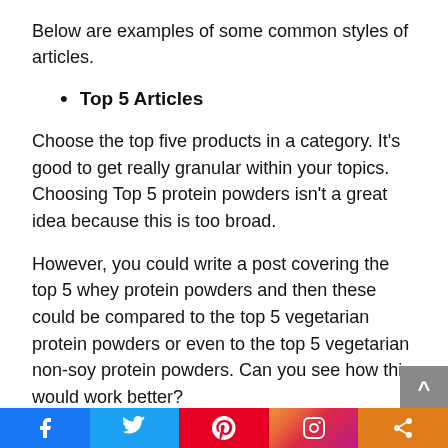Below are examples of some common styles of articles.
Top 5 Articles
Choose the top five products in a category. It's good to get really granular within your topics. Choosing Top 5 protein powders isn't a great idea because this is too broad.
However, you could write a post covering the top 5 whey protein powders and then these could be compared to the top 5 vegetarian protein powders or even to the top 5 vegetarian non-soy protein powders. Can you see how this would work better?